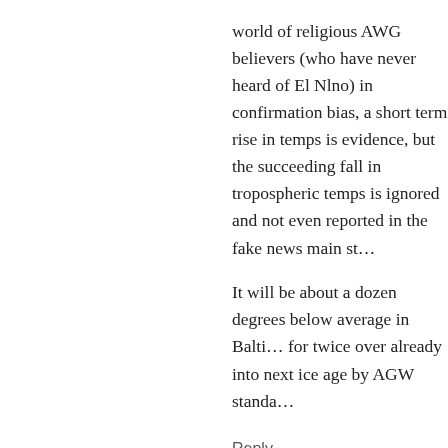world of religious AWG believers (who have never heard of El Nlno) in confirmation bias, a short term rise in temps is evidence, but the succeeding fall in tropospheric temps is ignored and not even reported in the fake news main stream media press…..
It will be about a dozen degrees below average in Baltimore today which would qualify for twice over already into next ice age by AGW standa…
Reply
Gail Combs says:
January 6, 2017 at 9:14 am
"…it pisses me off that in the world of religious AWG believers (who have never heard of El Nlno) in confirmation bias, a short term rise in temps is evidence, but the succeeding fall in tropospheric temps is ignored and not even reported in the fake news main stream media press….."
And that is why Tony is reporting it here. To je…
Reply